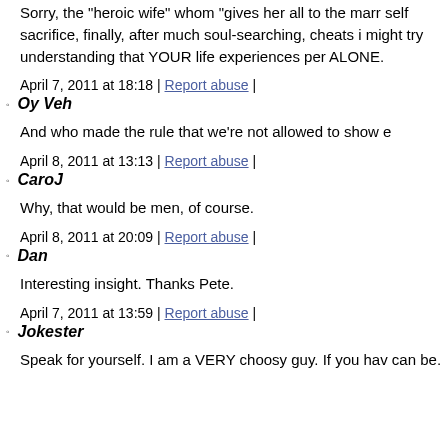Sorry, the "heroic wife" whom "gives her all to the marr self sacrifice, finally, after much soul-searching, cheats i might try understanding that YOUR life experiences pe ALONE.
April 7, 2011 at 18:18 | Report abuse |
Oy Veh
And who made the rule that we're not allowed to show e
April 8, 2011 at 13:13 | Report abuse |
CaroJ
Why, that would be men, of course.
April 8, 2011 at 20:09 | Report abuse |
Dan
Interesting insight. Thanks Pete.
April 7, 2011 at 13:59 | Report abuse |
Jokester
Speak for yourself. I am a VERY choosy guy. If you hav can be.